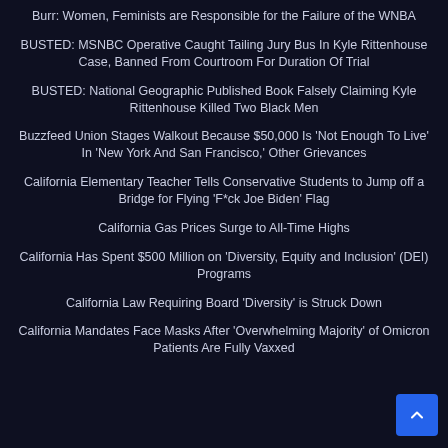Burr: Women, Feminists are Responsible for the Failure of the WNBA
BUSTED: MSNBC Operative Caught Tailing Jury Bus In Kyle Rittenhouse Case, Banned From Courtroom For Duration Of Trial
BUSTED: National Geographic Published Book Falsely Claiming Kyle Rittenhouse Killed Two Black Men
Buzzfeed Union Stages Walkout Because $50,000 Is 'Not Enough To Live' In 'New York And San Francisco,' Other Grievances
California Elementary Teacher Tells Conservative Students to Jump off a Bridge for Flying 'F*ck Joe Biden' Flag
California Gas Prices Surge to All-Time Highs
California Has Spent $500 Million on 'Diversity, Equity and Inclusion' (DEI) Programs
California Law Requiring Board 'Diversity' is Struck Down
California Mandates Face Masks After 'Overwhelming Majority' of Omicron Patients Are Fully Vaxxed